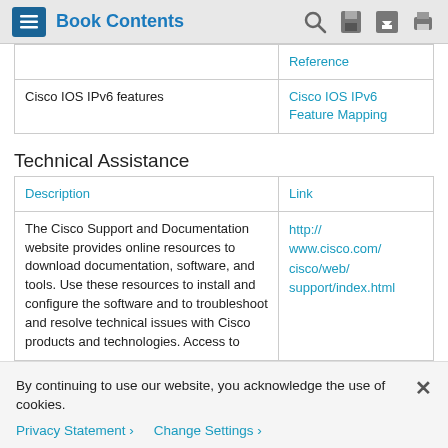Book Contents
|  | Reference |
| --- | --- |
| Cisco IOS IPv6 features | Cisco IOS IPv6 Feature Mapping |
Technical Assistance
| Description | Link |
| --- | --- |
| The Cisco Support and Documentation website provides online resources to download documentation, software, and tools. Use these resources to install and configure the software and to troubleshoot and resolve technical issues with Cisco products and technologies. Access to | http://www.cisco.com/cisco/web/support/index.html |
By continuing to use our website, you acknowledge the use of cookies.
Privacy Statement  Change Settings